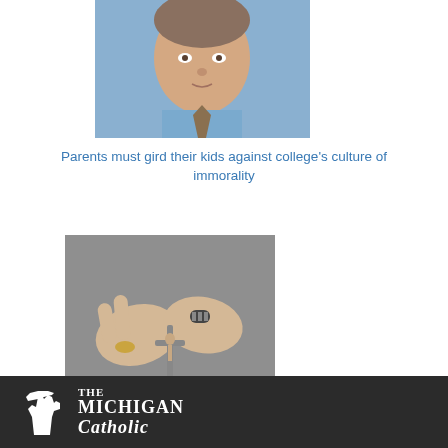[Figure (photo): Headshot of a man in a blue shirt and tie, cropped at the top of the page]
Parents must gird their kids against college's culture of immorality
[Figure (photo): Hands holding a crucifix/rosary, with rings visible on fingers]
If our ministry is for Christ, we must know Him first
The Michigan Catholic